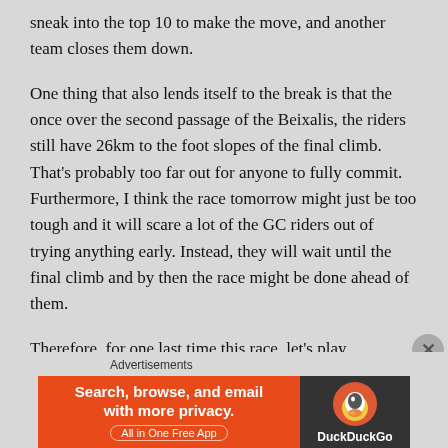sneak into the top 10 to make the move, and another team closes them down.
One thing that also lends itself to the break is that the once over the second passage of the Beixalis, the riders still have 26km to the foot slopes of the final climb. That's probably too far out for anyone to fully commit. Furthermore, I think the race tomorrow might just be too tough and it will scare a lot of the GC riders out of trying anything early. Instead, they will wait until the final climb and by then the race might be done ahead of them.
Therefore, for one last time this race, let's play everyone's favourite game.
[Figure (advertisement): DuckDuckGo advertisement banner: orange left panel with text 'Search, browse, and email with more privacy. All in One Free App', dark right panel with DuckDuckGo duck logo and brand name.]